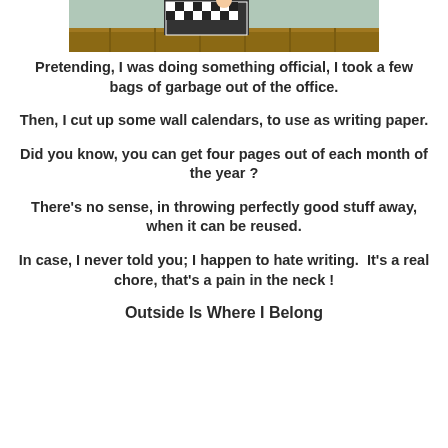[Figure (photo): Cropped photo at top showing a person in black and white checkered clothing on what appears to be wooden steps or bleachers with greenery in background]
Pretending, I was doing something official, I took a few bags of garbage out of the office.
Then, I cut up some wall calendars, to use as writing paper.
Did you know, you can get four pages out of each month of the year ?
There's no sense, in throwing perfectly good stuff away, when it can be reused.
In case, I never told you; I happen to hate writing.  It's a real chore, that's a pain in the neck !
Outside Is Where I Belong